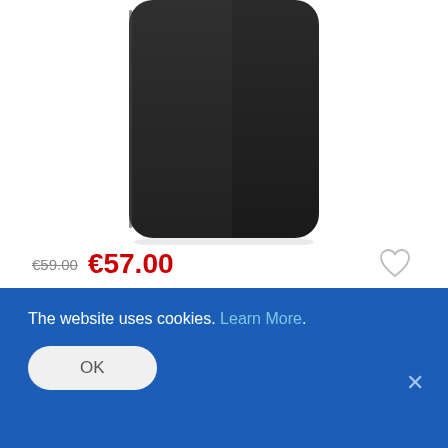[Figure (photo): Black smartphone case shown from the back, rectangular with rounded corners, dark charcoal color, photographed against white background. Only the bottom portion of the phone/case is visible.]
€59.00  €57.00
[Figure (illustration): Lava rewards logo: orange and red droplet/flame shape icon next to stylized 'lava' text in purple italic with 'rewards' subtitle. Followed by 'earn 114 points' text.]
The website uses cookies. Learn More.
OK